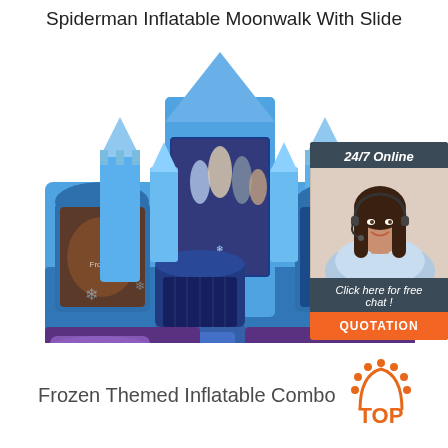Spiderman Inflatable Moonwalk With Slide
[Figure (photo): Blue Frozen-themed inflatable bounce house combo with castle turrets, Frozen character artwork panels, and a slide attachment. Includes a customer service chat widget on the right showing a woman with a headset, '24/7 Online' text, 'Click here for free chat!' and an orange QUOTATION button.]
Frozen Themed Inflatable Combo
[Figure (logo): Orange TOP logo: a house/arch shape made of dots above the word TOP in orange text]